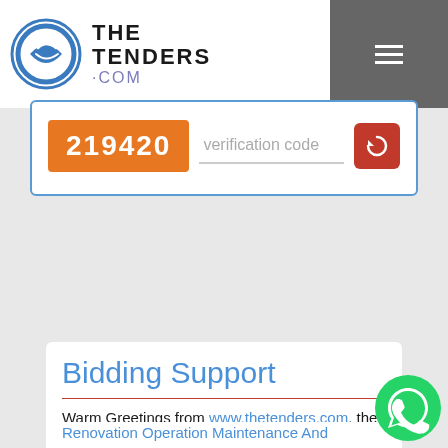THE TENDERS .COM
[Figure (screenshot): Verification code section with orange CAPTCHA box showing 219420, a verification code input field, and a red refresh button]
[Figure (screenshot): Blue Submit button with envelope icon]
Bidding Support
Warm Greetings from www.thetenders.com, the fastest growing tender information portal in India.
Renovation Operation Maintenance And Transfer Back Of Retiring Rooms At Various Railway Stations
TRN :24655360
Corporations And Associations And Others /